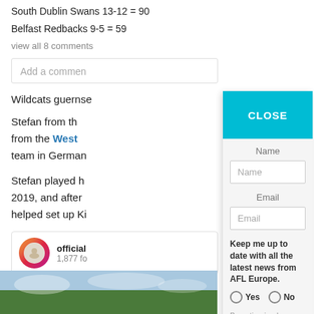South Dublin Swans 13-12 = 90
Belfast Redbacks 9-5 = 59
view all 8 comments
Add a comment
Wildcats guernse
Stefan from the West [link] team in German
Stefan played h 2019, and after helped set up Kie
[Figure (screenshot): Instagram embed showing official account with 1,877 followers, circular logo with gradient border]
[Figure (photo): Outdoor photo strip showing sky with clouds and trees at bottom]
Name
Name
Email
Email
Keep me up to date with all the latest news from AFL Europe.
Yes   No
By opting in above, you agree to receive emails from AFL Europe
Subscribe